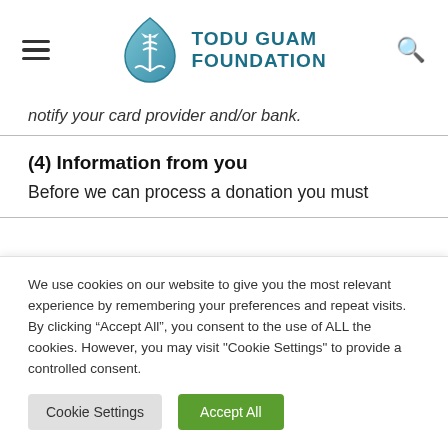[Figure (logo): Todu Guam Foundation logo with teal teardrop/shield shape containing a medical symbol and waves, and bold teal uppercase text 'TODU GUAM FOUNDATION']
notify your card provider and/or bank.
(4) Information from you
Before we can process a donation you must
We use cookies on our website to give you the most relevant experience by remembering your preferences and repeat visits. By clicking “Accept All”, you consent to the use of ALL the cookies. However, you may visit "Cookie Settings" to provide a controlled consent.